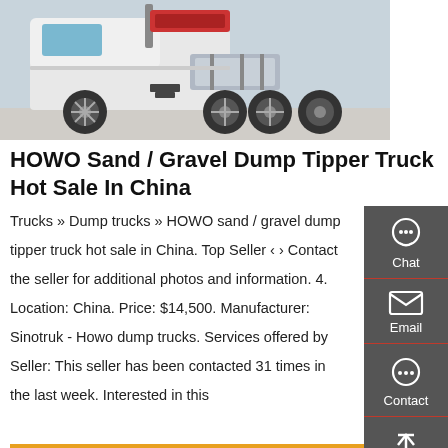[Figure (photo): White HOWO dump truck (rear/side view) parked on a concrete surface, showing large tires, exhaust stack, and red engine components]
HOWO Sand / Gravel Dump Tipper Truck Hot Sale In China
Trucks » Dump trucks » HOWO sand / gravel dump tipper truck hot sale in China. Top Seller ‹ › Contact the seller for additional photos and information. 4. Location: China. Price: $14,500. Manufacturer: Sinotruk - Howo dump trucks. Services offered by Seller: This seller has been contacted 31 times in the last week. Interested in this
Get a Quote